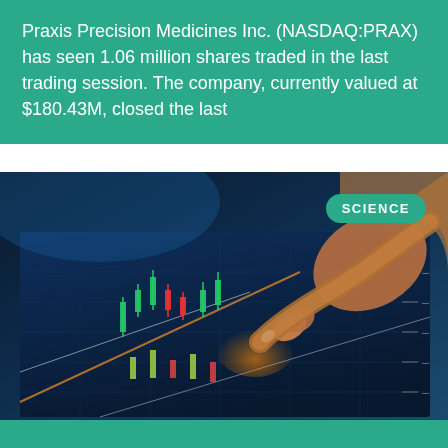Praxis Precision Medicines Inc. (NASDAQ:PRAX) has seen 1.06 million shares traded in the last trading session. The company, currently valued at $180.43M, closed the last
[Figure (photo): Close-up photo of a person's finger pointing at a financial chart displayed on a touchscreen tablet, showing candlestick/line chart patterns in blue and yellow tones. A 'SCIENCE' badge overlay is in the top right corner.]